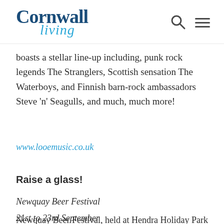Cornwall Living
boasts a stellar line-up including, punk rock legends The Stranglers, Scottish sensation The Waterboys, and Finnish barn-rock ambassadors Steve 'n' Seagulls, and much, much more!
www.looemusic.co.uk
Raise a glass!
Newquay Beer Festival
21st to 23rd September
Newquay Beer Festival, held at Hendra Holiday Park, is one